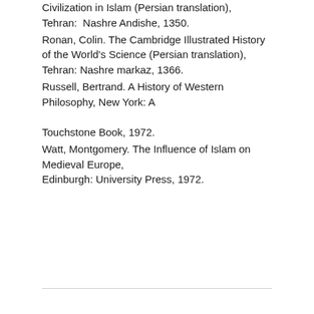Civilization in Islam (Persian translation), Tehran:  Nashre Andishe, 1350.
Ronan, Colin. The Cambridge Illustrated History of the World's Science (Persian translation), Tehran: Nashre markaz, 1366.
Russell, Bertrand. A History of Western Philosophy, New York: A Touchstone Book, 1972.
Watt, Montgomery. The Influence of Islam on Medieval Europe, Edinburgh: University Press, 1972.